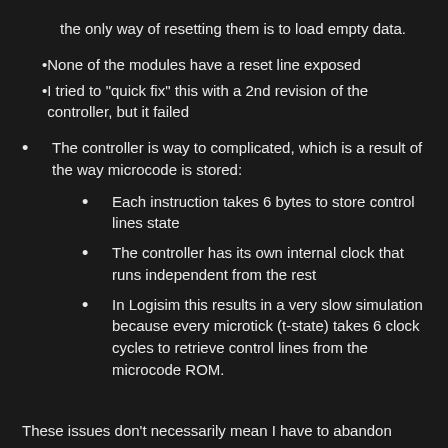the only way of resetting them is to load empty data.
None of the modules have a reset line exposed
I tried to "quick fix" this with a 2nd revision of the controller, but it failed
The controller is way to complicated, which is a result of the way microcode is stored:
Each instruction takes 6 bytes to store control lines state
The controller has its own internal clock that runs independent from the rest
In Logisim this results in a very slow simulation because every microtick (t-state) takes 6 clock cycles to retrieve control lines from the microcode ROM.
These issues don't necessarily mean I have to abandon